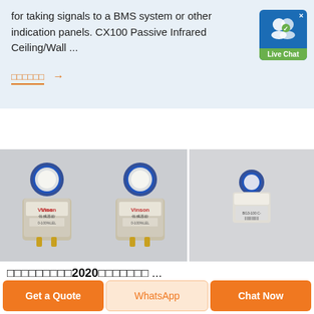for taking signals to a BMS system or other indication panels. CX100 Passive Infrared Ceiling/Wall ...
□□□□□□ →
[Figure (photo): Three small cylindrical gas sensor modules with blue caps and Vinson branding label, displayed on a grey background. Two sensors on the left side, one sensor on the right side.]
□□□□□□□□□2020□□□□□□□ ...
Get a Quote
WhatsApp
Chat Now